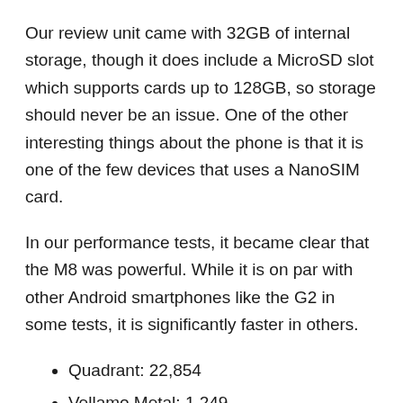Our review unit came with 32GB of internal storage, though it does include a MicroSD slot which supports cards up to 128GB, so storage should never be an issue. One of the other interesting things about the phone is that it is one of the few devices that uses a NanoSIM card.
In our performance tests, it became clear that the M8 was powerful. While it is on par with other Android smartphones like the G2 in some tests, it is significantly faster in others.
Quadrant: 22,854
Vellamo Metal: 1,249
AnTuTu: 33,192
CF-Bench: 38,127